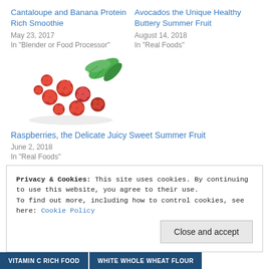Cantaloupe and Banana Protein Rich Smoothie
May 23, 2017
In "Blender or Food Processor"
Avocados the Unique Healthy Buttery Summer Fruit
August 14, 2018
In "Real Foods"
[Figure (photo): A pile of fresh red raspberries with green leaves on a white background]
Raspberries, the Delicate Juicy Sweet Summer Fruit
June 2, 2018
In "Real Foods"
Privacy & Cookies: This site uses cookies. By continuing to use this website, you agree to their use.
To find out more, including how to control cookies, see here: Cookie Policy
Close and accept
VITAMIN C RICH FOOD   WHITE WHOLE WHEAT FLOUR